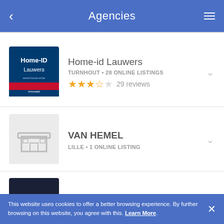Agencies
[Figure (logo): Home-ID Lauwers agency logo, dark blue background with red accent bar]
Home-id Lauwers
TURNHOUT • 28 ONLINE LISTINGS
★★★★☆ 29 reviews
[Figure (illustration): Generic grey placeholder building/store icon for VAN HEMEL]
VAN HEMEL
LILLE • 1 ONLINE LISTING
[Figure (logo): Immo Fluisteraar agency logo, dark navy background with italic script text]
Immo Fluisteraar
KONINGSHOOIKT • 65 ONLINE LISTINGS
This website uses cookies to offer a better browsing experience. By further browsing on this website, you agree with this. Learn More.